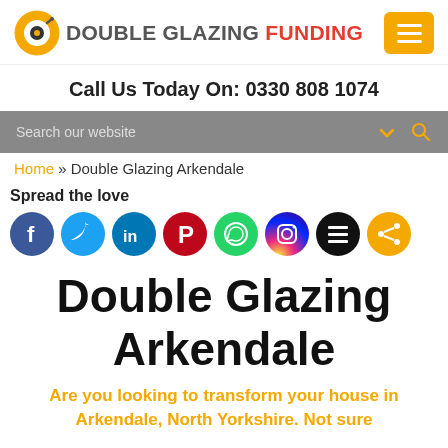Double Glazing Funding | Call Us Today On: 0330 808 1074
Search our website
Home » Double Glazing Arkendale
Spread the love
[Figure (illustration): Social media share icons: Facebook, Twitter, LinkedIn, Pinterest, WhatsApp, Instagram, Buffer, Share (orange)]
Double Glazing Arkendale
Are you looking to transform your house in Arkendale, North Yorkshire. Not sure